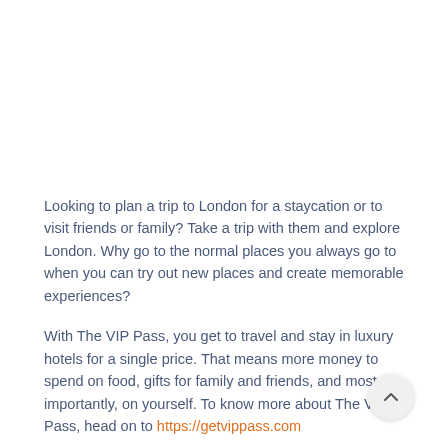Looking to plan a trip to London for a staycation or to visit friends or family? Take a trip with them and explore London. Why go to the normal places you always go to when you can try out new places and create memorable experiences?
With The VIP Pass, you get to travel and stay in luxury hotels for a single price. That means more money to spend on food, gifts for family and friends, and most importantly, on yourself. To know more about The VIP Pass, head on to https://getvippass.com